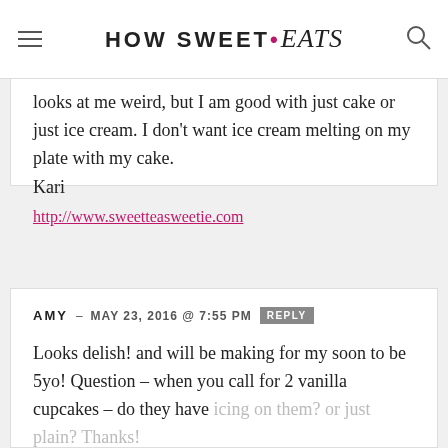HOW SWEET eats
looks at me weird, but I am good with just cake or just ice cream. I don't want ice cream melting on my plate with my cake.
Kari
http://www.sweetteasweetie.com
AMY – MAY 23, 2016 @ 7:55 PM REPLY
Looks delish! and will be making for my soon to be 5yo! Question – when you call for 2 vanilla cupcakes – do they have icing on them? or just plain? Thanks!